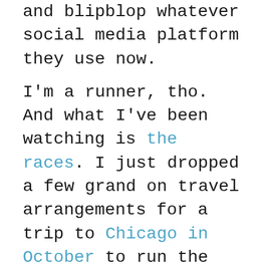and blipblop whatever social media platform they use now.
I'm a runner, tho. And what I've been watching is the races. I just dropped a few grand on travel arrangements for a trip to Chicago in October to run the giant marathon there, a marathon where tens of thousands of people with gather together in a very close group and breathe and cough and spit and sweat all over each other in a hot, virus-paradise of spandex and human flesh. If there is going to be a pandemic, by October we'll either know